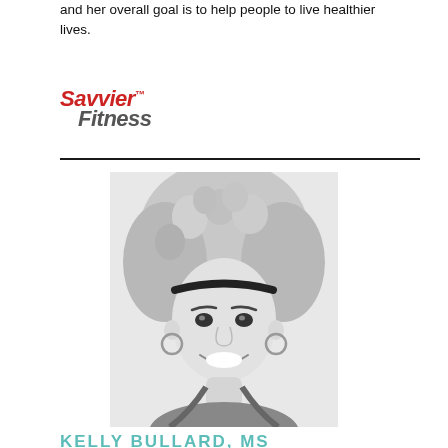and her overall goal is to help people to live healthier lives.
[Figure (logo): Savvier Fitness logo in red and gray italic bold text]
[Figure (photo): Black and white portrait photo of a smiling woman with curly hair pulled up, wearing a headband and hoop earrings]
KELLY BULLARD, MS